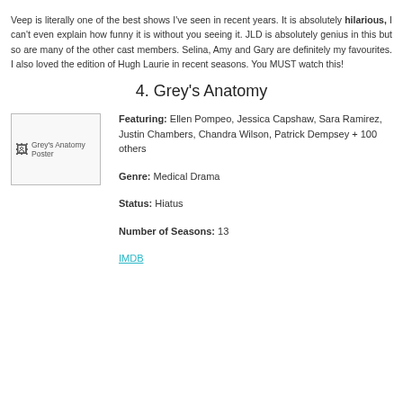Veep is literally one of the best shows I've seen in recent years. It is absolutely hilarious, I can't even explain how funny it is without you seeing it. JLD is absolutely genius in this but so are many of the other cast members. Selina, Amy and Gary are definitely my favourites. I also loved the edition of Hugh Laurie in recent seasons. You MUST watch this!
4. Grey's Anatomy
[Figure (photo): Grey's Anatomy Poster placeholder image]
Featuring: Ellen Pompeo, Jessica Capshaw, Sara Ramirez, Justin Chambers, Chandra Wilson, Patrick Dempsey + 100 others
Genre: Medical Drama
Status: Hiatus
Number of Seasons: 13
IMDB